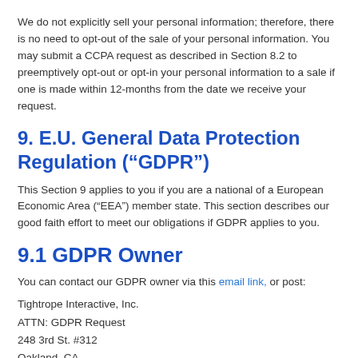We do not explicitly sell your personal information; therefore, there is no need to opt-out of the sale of your personal information. You may submit a CCPA request as described in Section 8.2 to preemptively opt-out or opt-in your personal information to a sale if one is made within 12-months from the date we receive your request.
9. E.U. General Data Protection Regulation (“GDPR”)
This Section 9 applies to you if you are a national of a European Economic Area (“EEA”) member state. This section describes our good faith effort to meet our obligations if GDPR applies to you.
9.1 GDPR Owner
You can contact our GDPR owner via this email link, or post:
Tightrope Interactive, Inc.
ATTN: GDPR Request
248 3rd St. #312
Oakland, CA